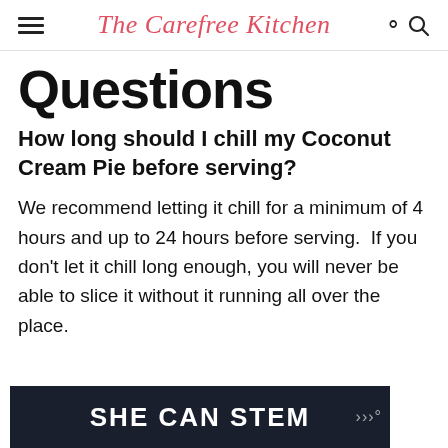The Carefree Kitchen
Questions
How long should I chill my Coconut Cream Pie before serving?
We recommend letting it chill for a minimum of 4 hours and up to 24 hours before serving.  If you don't let it chill long enough, you will never be able to slice it without it running all over the place.
[Figure (other): Advertisement banner with dark background reading SHE CAN STEM in bold white uppercase letters]